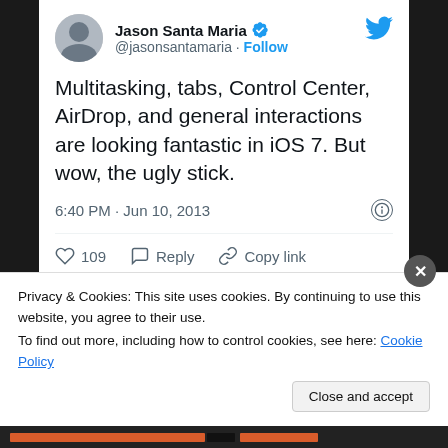[Figure (screenshot): Tweet by Jason Santa Maria (@jasonsantamaria) with verified badge and Follow button. Tweet text: 'Multitasking, tabs, Control Center, AirDrop, and general interactions are looking fantastic in iOS 7. But wow, the ugly stick.' Timestamp: 6:40 PM · Jun 10, 2013. Actions: 109 likes, Reply, Copy link. Button: Read 14 replies.]
You gotta wonder if they took their phones outside and looked at...
Privacy & Cookies: This site uses cookies. By continuing to use this website, you agree to their use.
To find out more, including how to control cookies, see here: Cookie Policy
Close and accept